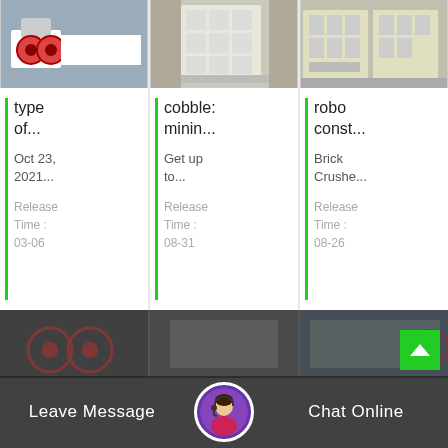[Figure (photo): Industrial crusher machine with red rollers in a factory]
[Figure (photo): Large white industrial crusher/mill equipment in facility]
[Figure (photo): Yellow crusher/processing machines in outdoor facility]
type of...
Oct 23, 2021...
Release Time : 03-06
cobble: minin...
Get up to...
Release Time : 08-31
robo const...
Brick Crushe...
Release Time : 08-26
[Figure (photo): Industrial machinery lower row left]
[Figure (photo): Industrial machinery lower row center with customer service agent avatar]
[Figure (photo): Industrial machinery lower row right]
Leave Message
Chat Online